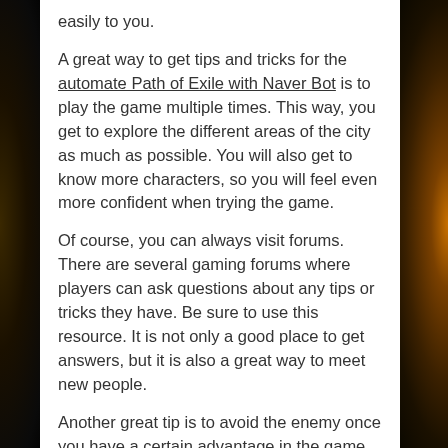easily to you.
A great way to get tips and tricks for the automate Path of Exile with Naver Bot is to play the game multiple times. This way, you get to explore the different areas of the city as much as possible. You will also get to know more characters, so you will feel even more confident when trying the game.
Of course, you can always visit forums. There are several gaming forums where players can ask questions about any tips or tricks they have. Be sure to use this resource. It is not only a good place to get answers, but it is also a great way to meet new people.
Another great tip is to avoid the enemy once you have a certain advantage in the game. If